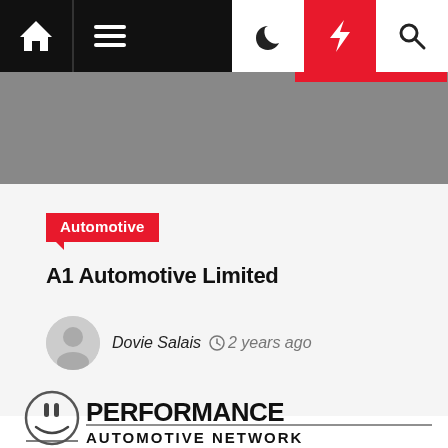[Figure (screenshot): Navigation bar with home icon, hamburger menu, moon icon, lightning bolt (red background), and search icon on dark background]
[Figure (photo): Grey hero banner area with red stripe accent]
Automotive
A1 Automotive Limited
Dovie Salais  2 years ago
[Figure (logo): Performance Automotive Network logo with circular smiley face icon and bold text]